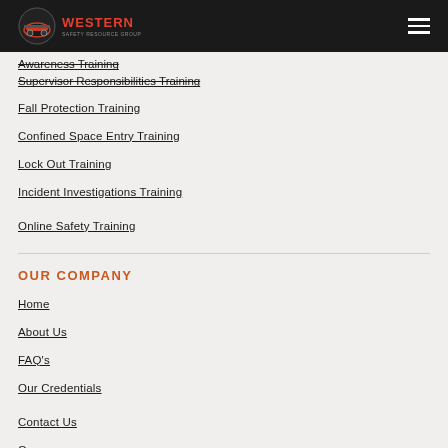Western Safety Resource Group
Awareness Training
Supervisor Responsibilities Training
Fall Protection Training
Confined Space Entry Training
Lock Out Training
Incident Investigations Training
Online Safety Training
OUR COMPANY
Home
About Us
FAQ's
Our Credentials
Contact Us
Careers
Blog